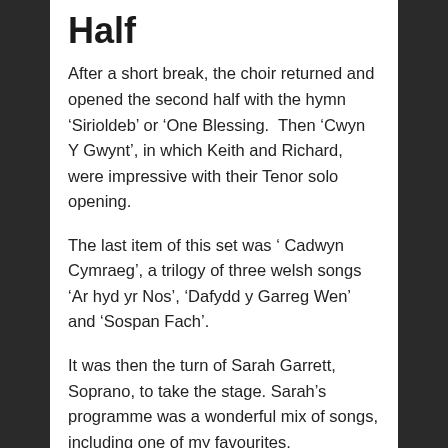Half
After a short break, the choir returned and opened the second half with the hymn ‘Sirioldeb’ or ‘One Blessing. Then ‘Cwyn Y Gwynt’, in which Keith and Richard, were impressive with their Tenor solo opening.
The last item of this set was ‘ Cadwyn Cymraeg’, a trilogy of three welsh songs ‘Ar hyd yr Nos’, ‘Dafydd y Garreg Wen’ and ‘Sospan Fach’.
It was then the turn of Sarah Garrett, Soprano, to take the stage. Sarah’s programme was a wonderful mix of songs, including one of my favourites, ‘Summertime’.
It is no overstatement to say that Sarah’s